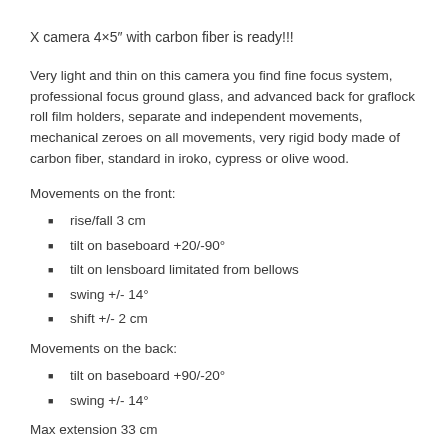X camera 4×5″ with carbon fiber is ready!!!
Very light and thin on this camera you find fine focus system, professional focus ground glass, and advanced back for graflock roll film holders, separate and independent movements, mechanical zeroes on all movements, very rigid body made of carbon fiber, standard in iroko, cypress or olive wood.
Movements on the front:
rise/fall 3 cm
tilt on baseboard +20/-90°
tilt on lensboard limitated from bellows
swing +/- 14°
shift +/- 2 cm
Movements on the back:
tilt on baseboard +90/-20°
swing +/- 14°
Max extension 33 cm